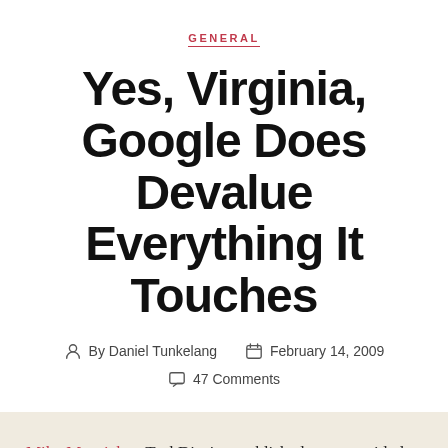GENERAL
Yes, Virginia, Google Does Devalue Everything It Touches
By Daniel Tunkelang   February 14, 2009   47 Comments
Mike Masnick at TechDirt just published a post entitled "WSJ Editor Claims Google Devalues Everything" in which he objects to Wall Street Journal managing editor